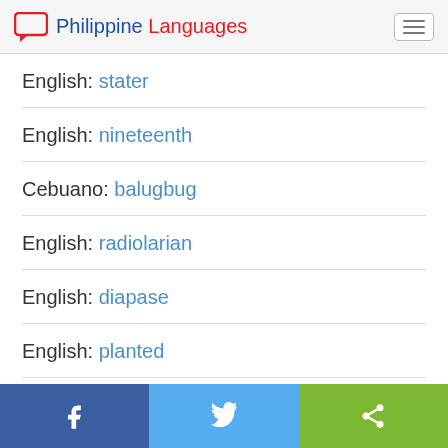Philippine Languages
English: stater
English: nineteenth
Cebuano: balugbug
English: radiolarian
English: diapase
English: planted
Facebook | Twitter | Share